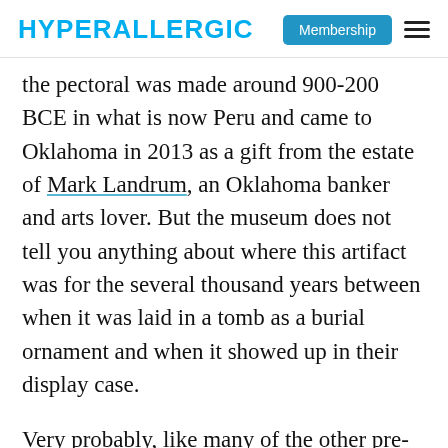HYPERALLERGIC | Membership
the pectoral was made around 900-200 BCE in what is now Peru and came to Oklahoma in 2013 as a gift from the estate of Mark Landrum, an Oklahoma banker and arts lover. But the museum does not tell you anything about where this artifact was for the several thousand years between when it was laid in a tomb as a burial ornament and when it showed up in their display case.
Very probably, like many of the other pre-Columbian artifacts that have ended up in the United States, the pectoral was looted and